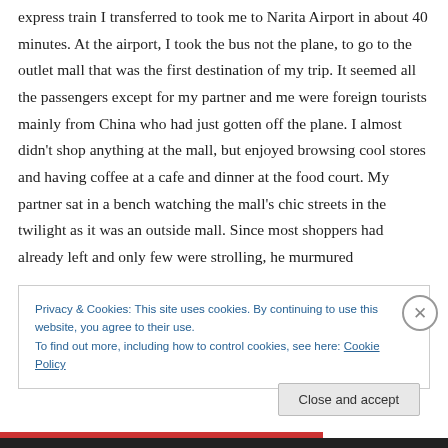express train I transferred to took me to Narita Airport in about 40 minutes. At the airport, I took the bus not the plane, to go to the outlet mall that was the first destination of my trip. It seemed all the passengers except for my partner and me were foreign tourists mainly from China who had just gotten off the plane. I almost didn't shop anything at the mall, but enjoyed browsing cool stores and having coffee at a cafe and dinner at the food court. My partner sat in a bench watching the mall's chic streets in the twilight as it was an outside mall. Since most shoppers had already left and only few were strolling, he murmured
Privacy & Cookies: This site uses cookies. By continuing to use this website, you agree to their use.
To find out more, including how to control cookies, see here: Cookie Policy
Close and accept